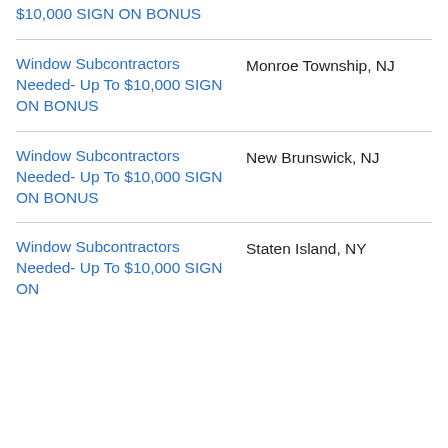$10,000 SIGN ON BONUS
Window Subcontractors Needed- Up To $10,000 SIGN ON BONUS
Monroe Township, NJ
Window Subcontractors Needed- Up To $10,000 SIGN ON BONUS
New Brunswick, NJ
Window Subcontractors Needed- Up To $10,000 SIGN ON
Staten Island, NY